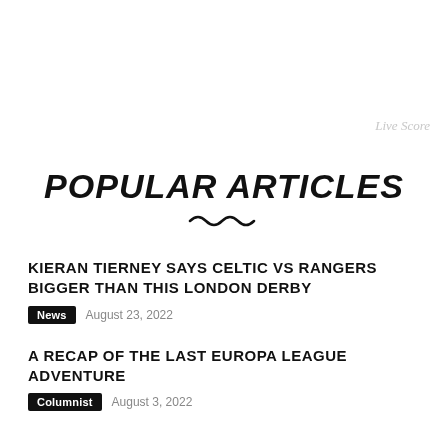Live Score
POPULAR ARTICLES
KIERAN TIERNEY SAYS CELTIC VS RANGERS BIGGER THAN THIS LONDON DERBY
News  August 23, 2022
A RECAP OF THE LAST EUROPA LEAGUE ADVENTURE
Columnist  August 3, 2022